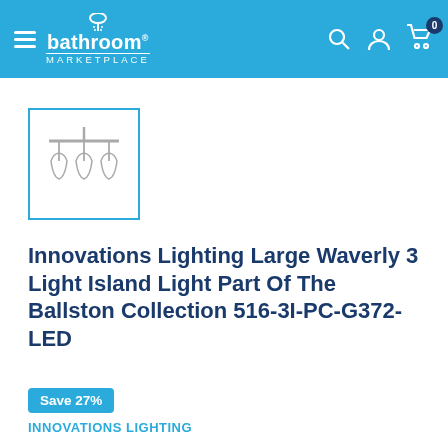bathroom MARKETPLACE
[Figure (photo): Product thumbnail of Innovations Lighting Large Waverly 3 Light Island Light with three pendant glass shades on a horizontal bar, shown inside a teal-bordered box]
Innovations Lighting Large Waverly 3 Light Island Light Part Of The Ballston Collection 516-3I-PC-G372-LED
Save 27%
INNOVATIONS LIGHTING